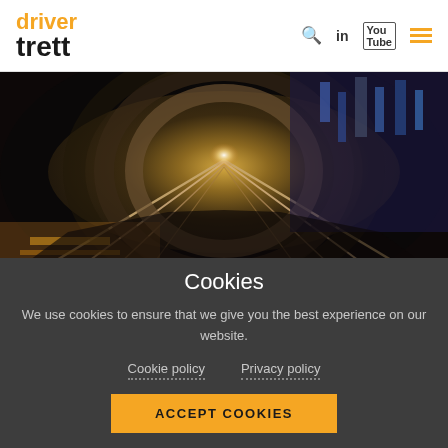driver trett
[Figure (photo): High-speed motion blur photo taken from inside a train tunnel, showing streaking light trails and city lights on either side]
Cookies
We use cookies to ensure that we give you the best experience on our website.
Cookie policy   Privacy policy
ACCEPT COOKIES